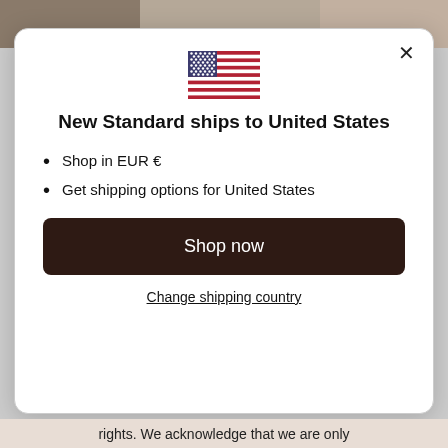[Figure (photo): Background photo of a person, partially visible at top of page]
New Standard ships to United States
Shop in EUR €
Get shipping options for United States
Shop now
Change shipping country
rights. We acknowledge that we are only